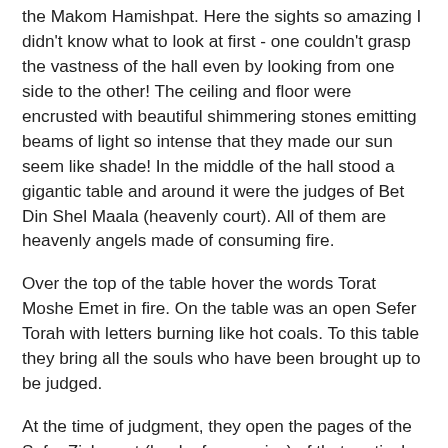the Makom Hamishpat. Here the sights so amazing I didn't know what to look at first - one couldn't grasp the vastness of the hall even by looking from one side to the other! The ceiling and floor were encrusted with beautiful shimmering stones emitting beams of light so intense that they made our sun seem like shade! In the middle of the hall stood a gigantic table and around it were the judges of Bet Din Shel Maala (heavenly court). All of them are heavenly angels made of consuming fire.
Over the top of the table hover the words Torat Moshe Emet in fire. On the table was an open Sefer Torah with letters burning like hot coals. To this table they bring all the souls who have been brought up to be judged.
At the time of judgment, they open the pages of the Sefer Zichronot (book of memories) of that particular neshama. The book of memory is made of parchment and from it, they read out all the good and bad deeds of the soul during his lifetime. Everything written in the book of memories is in the person's own handwriting. For every judgment there are Angels of Judgment and Angels of Mercy.